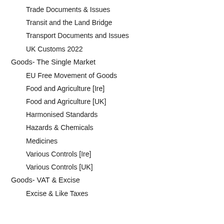Trade Documents & Issues
Transit and the Land Bridge
Transport Documents and Issues
UK Customs 2022
Goods- The Single Market
EU Free Movement of Goods
Food and Agriculture [Ire]
Food and Agriculture [UK]
Harmonised Standards
Hazards & Chemicals
Medicines
Various Controls [Ire]
Various Controls [UK]
Goods- VAT & Excise
Excise & Like Taxes